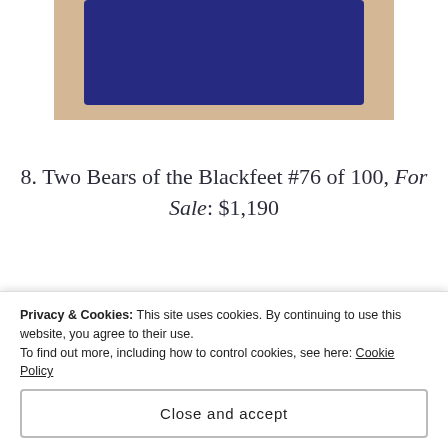[Figure (photo): Top portion of a blue fabric/cloth item on a beige/tan background, partially cropped at top of page]
8. Two Bears of the Blackfeet #76 of 100, For Sale: $1,190
[Figure (photo): A framed picture/artwork in an ornate wooden frame with multiple mat layers, displayed against a dark background]
Privacy & Cookies: This site uses cookies. By continuing to use this website, you agree to their use.
To find out more, including how to control cookies, see here: Cookie Policy
Close and accept